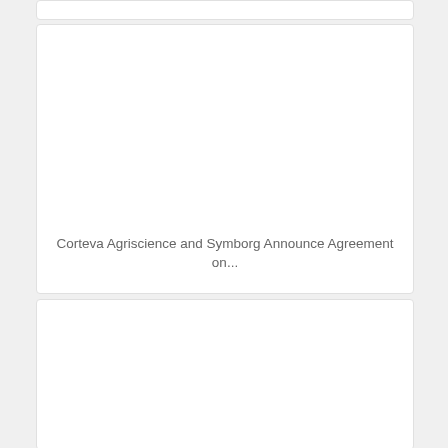[Figure (other): Partial top card/panel, truncated at top of page]
[Figure (other): Card with image area (white/blank) and caption text reading 'Corteva Agriscience and Symborg Announce Agreement on...']
Corteva Agriscience and Symborg Announce Agreement on...
[Figure (other): Card with image area (white/blank), partially visible, truncated at bottom of page]